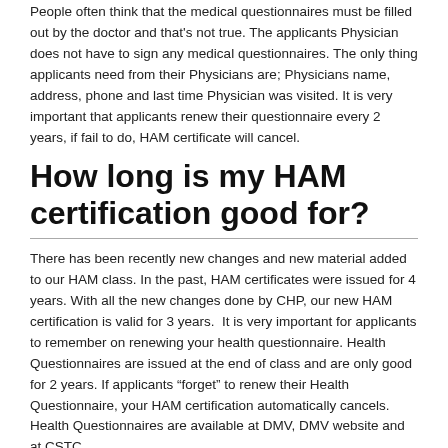People often think that the medical questionnaires must be filled out by the doctor and that's not true. The applicants Physician does not have to sign any medical questionnaires. The only thing applicants need from their Physicians are; Physicians name, address, phone and last time Physician was visited. It is very important that applicants renew their questionnaire every 2 years, if fail to do, HAM certificate will cancel.
How long is my HAM certification good for?
There has been recently new changes and new material added to our HAM class. In the past, HAM certificates were issued for 4 years. With all the new changes done by CHP, our new HAM certification is valid for 3 years.  It is very important for applicants to remember on renewing your health questionnaire. Health Questionnaires are issued at the end of class and are only good for 2 years. If applicants “forget” to renew their Health Questionnaire, your HAM certification automatically cancels. Health Questionnaires are available at DMV, DMV website and at CSTC.
Who issues my HAM